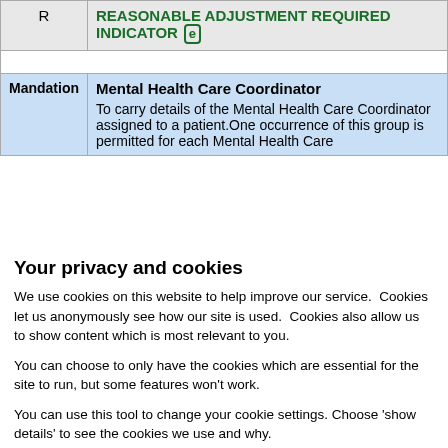| Code | Description |
| --- | --- |
| R | REASONABLE ADJUSTMENT REQUIRED INDICATOR [e] |
|  |  |
| Mandation | Mental Health Care Coordinator
To carry details of the Mental Health Care Coordinator assigned to a patient.One occurrence of this group is permitted for each Mental Health Care |
Your privacy and cookies
We use cookies on this website to help improve our service.  Cookies let us anonymously see how our site is used.  Cookies also allow us to show content which is most relevant to you.
You can choose to only have the cookies which are essential for the site to run, but some features won't work.
You can use this tool to change your cookie settings. Choose 'show details' to see the cookies we use and why.
Use necessary cookies only | Allow all cookies | Show details